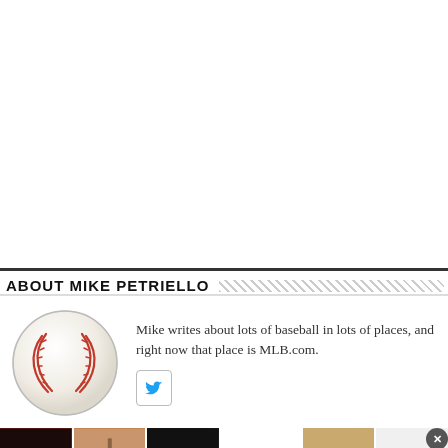ABOUT MIKE PETRIELLO
[Figure (illustration): Baseball avatar – a white baseball with red stitching, circular profile image]
Mike writes about lots of baseball in lots of places, and right now that place is MLB.com.
[Figure (logo): ULTA Beauty advertisement banner with beauty/makeup imagery, ULTA logo, and SHOP NOW text]